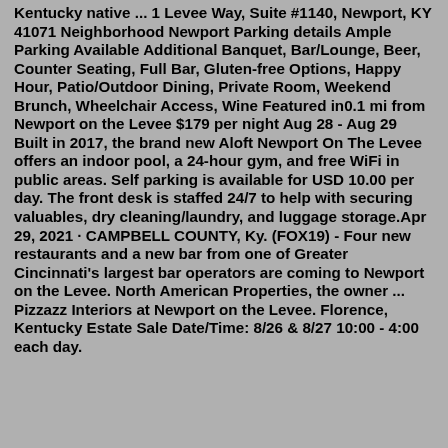Kentucky native ... 1 Levee Way, Suite #1140, Newport, KY 41071 Neighborhood Newport Parking details Ample Parking Available Additional Banquet, Bar/Lounge, Beer, Counter Seating, Full Bar, Gluten-free Options, Happy Hour, Patio/Outdoor Dining, Private Room, Weekend Brunch, Wheelchair Access, Wine Featured in0.1 mi from Newport on the Levee $179 per night Aug 28 - Aug 29 Built in 2017, the brand new Aloft Newport On The Levee offers an indoor pool, a 24-hour gym, and free WiFi in public areas. Self parking is available for USD 10.00 per day. The front desk is staffed 24/7 to help with securing valuables, dry cleaning/laundry, and luggage storage.Apr 29, 2021 · CAMPBELL COUNTY, Ky. (FOX19) - Four new restaurants and a new bar from one of Greater Cincinnati's largest bar operators are coming to Newport on the Levee. North American Properties, the owner ... Pizzazz Interiors at Newport on the Levee. Florence, Kentucky Estate Sale Date/Time: 8/26 & 8/27 10:00 - 4:00 each day.